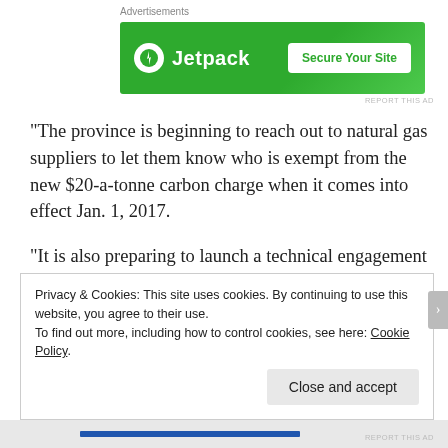Advertisements
[Figure (other): Jetpack advertisement banner with green background showing a circle icon with lightning bolt, 'Jetpack' brand name, and a 'Secure Your Site' button.]
“The province is beginning to reach out to natural gas suppliers to let them know who is exempt from the new $20-a-tonne carbon charge when it comes into effect Jan. 1, 2017.
“It is also preparing to launch a technical engagement process ahead of introducing legislation this spring.
Privacy & Cookies: This site uses cookies. By continuing to use this website, you agree to their use.
To find out more, including how to control cookies, see here: Cookie Policy